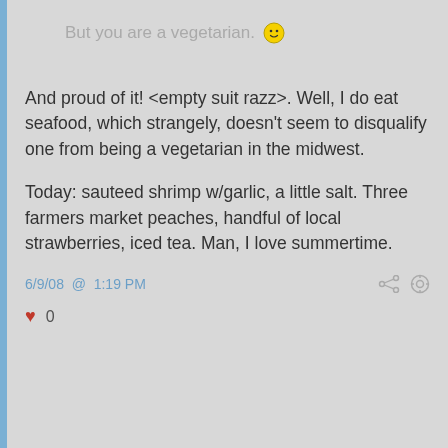But you are a vegetarian. 🙂
And proud of it! <empty suit razz>. Well, I do eat seafood, which strangely, doesn't seem to disqualify one from being a vegetarian in the midwest.
Today: sauteed shrimp w/garlic, a little salt. Three farmers market peaches, handful of local strawberries, iced tea. Man, I love summertime.
6/9/08 @ 1:19 PM
♥ 0